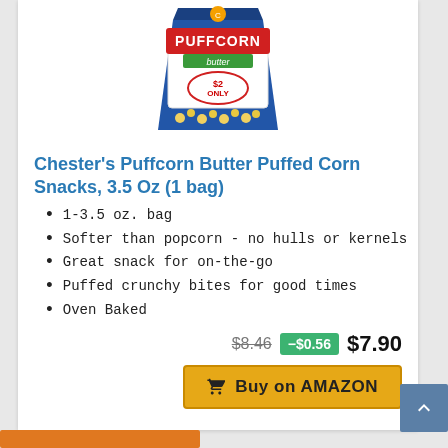[Figure (photo): Chester's Puffcorn Butter flavored snack bag, blue packaging with '$2 Only' label]
Chester's Puffcorn Butter Puffed Corn Snacks, 3.5 Oz (1 bag)
1-3.5 oz. bag
Softer than popcorn - no hulls or kernels
Great snack for on-the-go
Puffed crunchy bites for good times
Oven Baked
$8.46  -$0.56  $7.90
Buy on AMAZON